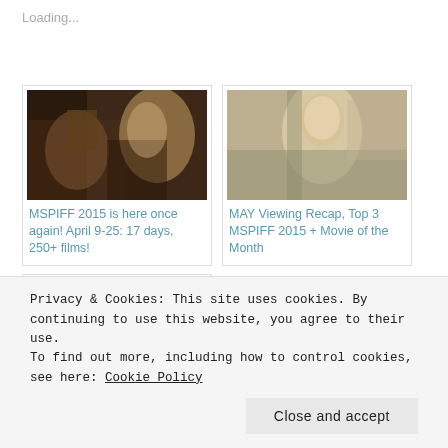Loading...
[Figure (photo): Movie still: two people in a dark scene, one leaning toward the other]
MSPIFF 2015 is here once again! April 9-25: 17 days, 250+ films!
[Figure (photo): Movie still: a blond man in a leather jacket outdoors in a desert-like setting]
MAY Viewing Recap, Top 3 MSPIFF 2015 + Movie of the Month
[Figure (photo): Movie still: a woman in period costume indoors]
Privacy & Cookies: This site uses cookies. By continuing to use this website, you agree to their use.
To find out more, including how to control cookies, see here: Cookie Policy
Close and accept